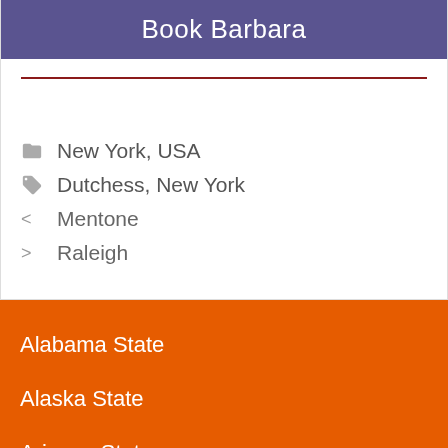Book Barbara
New York, USA
Dutchess, New York
Mentone
Raleigh
Alabama State
Alaska State
Arizona State
Arkansas State